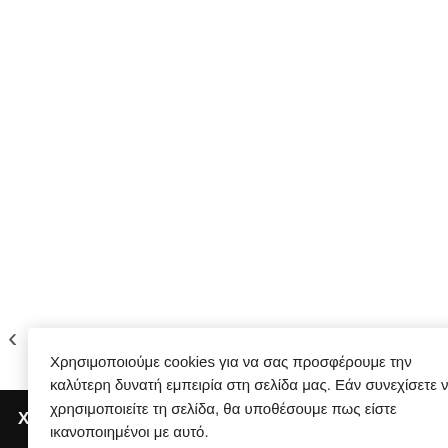[Figure (screenshot): White product carousel area with left and right navigation arrows, and a partially visible product card on the right showing a heart/wishlist icon, Greek product title text, and a green price.]
Χρησιμοποιούμε cookies για να σας προσφέρουμε την καλύτερη δυνατή εμπειρία στη σελίδα μας. Εάν συνεχίσετε να χρησιμοποιείτε τη σελίδα, θα υποθέσουμε πως είστε ικανοποιημένοι με αυτό.
Cookie settings
ACCEPT
Κοντομάνικη
is Size BLUE NAVY
ληνικής
ής)DRONES-02
12,90
ΧΡΗΣΙΜΑ